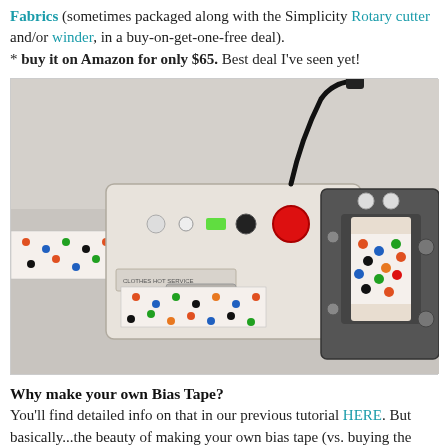Fabrics (sometimes packaged along with the Simplicity Rotary cutter and/or winder, in a buy-on-get-one-free deal). * buy it on Amazon for only $65. Best deal I've seen yet!
[Figure (photo): Photo of a bias tape maker machine with colorful polka-dot fabric running through it, connected to a power cord, sitting on a white surface.]
Why make your own Bias Tape?
You'll find detailed info on that in our previous tutorial HERE. But basically...the beauty of making your own bias tape (vs. buying the stuff at the store) is that you can make it from any fabric, especially fabrics with a cute pattern. Most pre-packaged bias tape is sold in 3 yard bundles, in SOLID